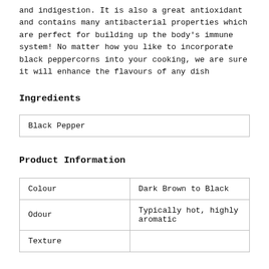and indigestion. It is also a great antioxidant and contains many antibacterial properties which are perfect for building up the body's immune system! No matter how you like to incorporate black peppercorns into your cooking, we are sure it will enhance the flavours of any dish
Ingredients
| Black Pepper |
Product Information
| Colour | Dark Brown to Black |
| Odour | Typically hot, highly aromatic |
| Texture |  |